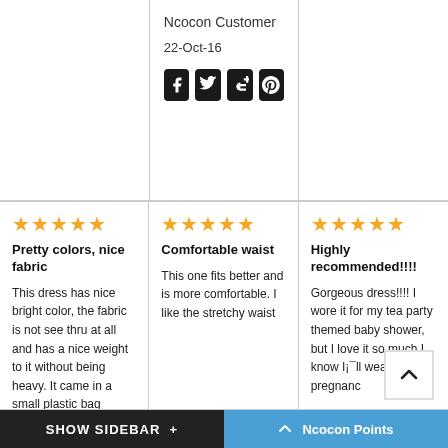Ncocon Customer
22-Oct-16
[Figure (other): Social share icons: Facebook, Twitter, Google+, Pinterest]
★★★★★
Pretty colors, nice fabric

This dress has nice bright color, the fabric is not see thru at all and has a nice weight to it without being heavy. It came in a small plastic bag without a wrinkle. Armholes are just
★★★★★
Comfortable waist

This one fits better and is more comfortable. I like the stretchy waist
unknown
31-May-21
[Figure (other): Social share icons: Facebook, Twitter, Google+, Pinterest]
★★★★★
Highly recommended!!!!

Gorgeous dress!!!! I wore it for my tea party themed baby shower, but I love it so much I know I¡¯ll wear it after pregnancy too!It¡¯s polyester material, so it¡¯s
SHOW SIDEBAR +
^ Ncocon Points